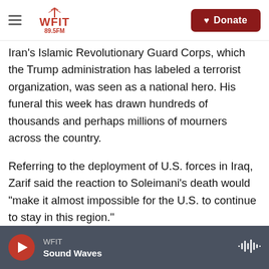WFIT 89.5FM — Donate
Iran's Islamic Revolutionary Guard Corps, which the Trump administration has labeled a terrorist organization, was seen as a national hero. His funeral this week has drawn hundreds of thousands and perhaps millions of mourners across the country.
Referring to the deployment of U.S. forces in Iraq, Zarif said the reaction to Soleimani's death would "make it almost impossible for the U.S. to continue to stay in this region."
In what he said was another consequence of the assassination of Soleimani, Zarif said there would
WFIT — Sound Waves